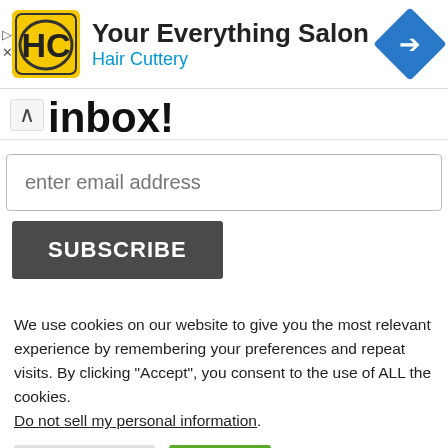[Figure (logo): Hair Cuttery advertisement banner with HC logo in yellow square, text 'Your Everything Salon' and 'Hair Cuttery' in blue, and a blue diamond navigation arrow icon on the right]
inbox!
enter email address
SUBSCRIBE
We use cookies on our website to give you the most relevant experience by remembering your preferences and repeat visits. By clicking “Accept”, you consent to the use of ALL the cookies. Do not sell my personal information.
Cookie Settings  Accept